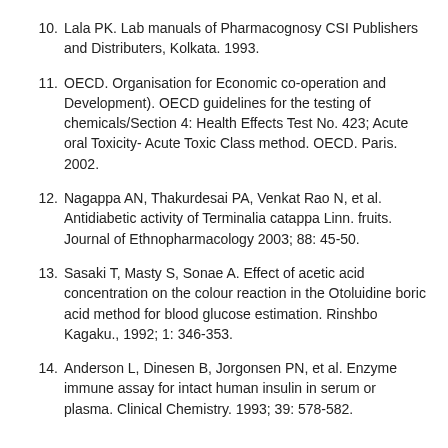10. Lala PK. Lab manuals of Pharmacognosy CSI Publishers and Distributers, Kolkata. 1993.
11. OECD. Organisation for Economic co-operation and Development). OECD guidelines for the testing of chemicals/Section 4: Health Effects Test No. 423; Acute oral Toxicity- Acute Toxic Class method. OECD. Paris. 2002.
12. Nagappa AN, Thakurdesai PA, Venkat Rao N, et al. Antidiabetic activity of Terminalia catappa Linn. fruits. Journal of Ethnopharmacology 2003; 88: 45-50.
13. Sasaki T, Masty S, Sonae A. Effect of acetic acid concentration on the colour reaction in the Otoluidine boric acid method for blood glucose estimation. Rinshbo Kagaku., 1992; 1: 346-353.
14. Anderson L, Dinesen B, Jorgonsen PN, et al. Enzyme immune assay for intact human insulin in serum or plasma. Clinical Chemistry. 1993; 39: 578-582.